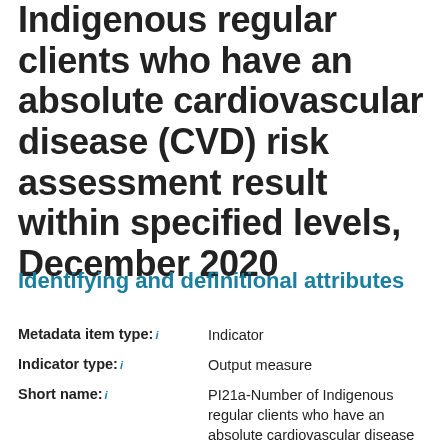Indigenous regular clients who have an absolute cardiovascular disease (CVD) risk assessment result within specified levels, December 2020
Identifying and definitional attributes
| Attribute | Value |
| --- | --- |
| Metadata item type: | Indicator |
| Indicator type: | Output measure |
| Short name: | PI21a-Number of Indigenous regular clients who have an absolute cardiovascular disease (CVD) risk assessment result within specified levels, December |